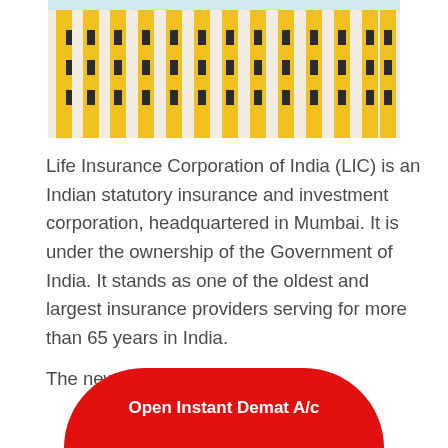[Figure (photo): Photograph of the LIC building facade showing yellow vertical columns and dark windows against a light sky]
Life Insurance Corporation of India (LIC) is an Indian statutory insurance and investment corporation, headquartered in Mumbai. It is under the ownership of the Government of India. It stands as one of the oldest and largest insurance providers serving for more than 65 years in India.
The new… public
Open Instant Demat A/c